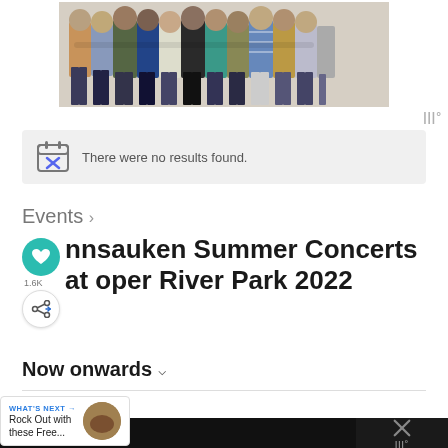[Figure (photo): Group of people standing together with arms around each other, backs to camera, wearing colorful clothes and jeans]
There were no results found.
Events >
Pennsauken Summer Concerts at Cooper River Park 2022
Now onwards
WHAT'S NEXT → Rock Out with these Free...
< Previous   Today   Next >